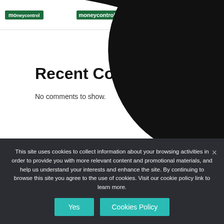moneycontrol | moneycontrol PRO
[Figure (illustration): Large black decorative swoosh/curved shape overlapping the upper right portion of the page]
Recent Comm[ents]
No comments to show.
© 2022 WooDZog • Built with GeneratePress
This site uses cookies to collect information about your browsing activities in order to provide you with more relevant content and promotional materials, and help us understand your interests and enhance the site. By continuing to browse this site you agree to the use of cookies. Visit our cookie policy link to learn more.